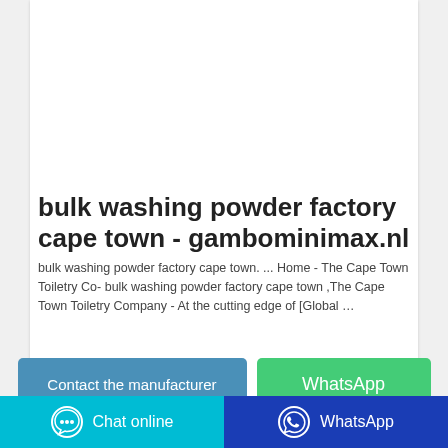[Figure (photo): Product photo of a yellow/green washing powder package on a wooden surface]
bulk washing powder factory cape town - gambominimax.nl
bulk washing powder factory cape town. ... Home - The Cape Town Toiletry Co- bulk washing powder factory cape town ,The Cape Town Toiletry Company - At the cutting edge of [Global …
Contact the manufacturer
WhatsApp
Chat online   WhatsApp